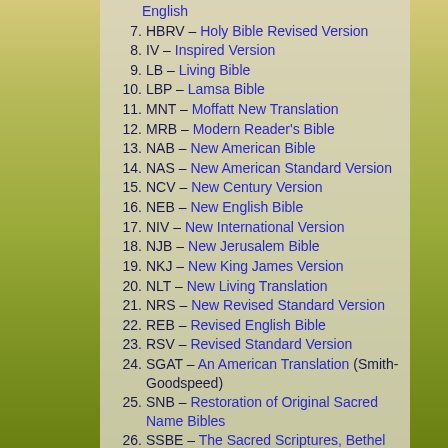HBRV – Holy Bible Revised Version
IV – Inspired Version
LB – Living Bible
LBP – Lamsa Bible
MNT – Moffatt New Translation
MRB – Modern Reader's Bible
NAB – New American Bible
NAS – New American Standard Version
NCV – New Century Version
NEB – New English Bible
NIV – New International Version
NJB – New Jerusalem Bible
NKJ – New King James Version
NLT – New Living Translation
NRS – New Revised Standard Version
REB – Revised English Bible
RSV – Revised Standard Version
SGAT – An American Translation (Smith-Goodspeed)
SNB – Restoration of Original Sacred Name Bibles
SSBE – The Sacred Scriptures, Bethel